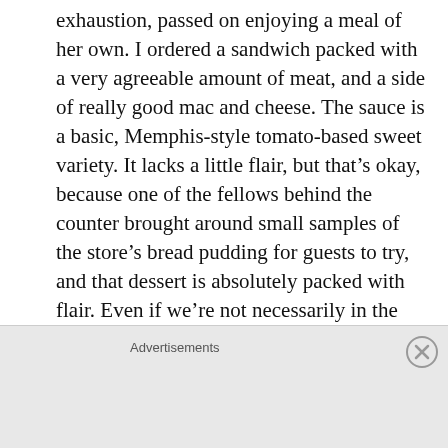exhaustion, passed on enjoying a meal of her own. I ordered a sandwich packed with a very agreeable amount of meat, and a side of really good mac and cheese. The sauce is a basic, Memphis-style tomato-based sweet variety. It lacks a little flair, but that's okay, because one of the fellows behind the counter brought around small samples of the store's bread pudding for guests to try, and that dessert is absolutely packed with flair. Even if we're not necessarily in the mood for barbecue on our way through Jackson County, stopping here for a dessert cup of bread pudding is a terrific idea for a snack.

The strip mall that houses Stonewall's is also home to a consignment shop with what appeared to be a
Advertisements